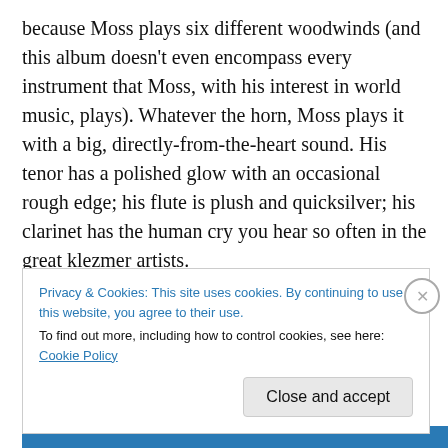because Moss plays six different woodwinds (and this album doesn't even encompass every instrument that Moss, with his interest in world music, plays). Whatever the horn, Moss plays it with a big, directly-from-the-heart sound. His tenor has a polished glow with an occasional rough edge; his flute is plush and quicksilver; his clarinet has the human cry you hear so often in the great klezmer artists.

Stein has a dark, confiding sound, but he's not exactly introspective. He can be assertive, even explosive at
Privacy & Cookies: This site uses cookies. By continuing to use this website, you agree to their use.
To find out more, including how to control cookies, see here: Cookie Policy
Close and accept